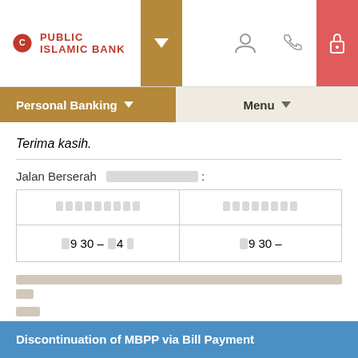[Figure (screenshot): Public Islamic Bank website header with logo, navigation bar showing Personal Banking and Menu buttons, and navigation icons]
Terima kasih.
Jalan Berserah [redacted]:
| [redacted] | [redacted] |
| --- | --- |
| 9 30 – 4 | 9 30 – |
[placeholder rows with redacted content]
Discontinuation of MBPP via Bill Payment